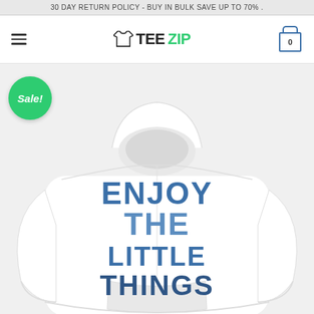30 DAY RETURN POLICY - BUY IN BULK SAVE UP TO 70% .
[Figure (logo): TeeZip logo with t-shirt icon, hamburger menu on left, shopping cart with 0 on right]
[Figure (photo): White hoodie sweatshirt shown from back with 'ENJOY THE LITTLE THINGS' text in retro blue wavy font on the back. A green 'Sale!' badge is overlaid in the top-left corner.]